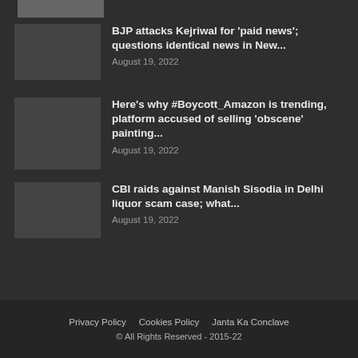[Figure (photo): Thumbnail image at top left, partially visible]
BJP attacks Kejriwal for ‘paid news’; questions identical news in New...
August 19, 2022
Here’s why #Boycott_Amazon is trending, platform accused of selling ‘obscene’ painting...
August 19, 2022
CBI raids against Manish Sisodia in Delhi liquor scam case; what...
August 19, 2022
Privacy Policy   Cookies Policy   Janta Ka Conclave
© All Rights Reserved - 2015-22